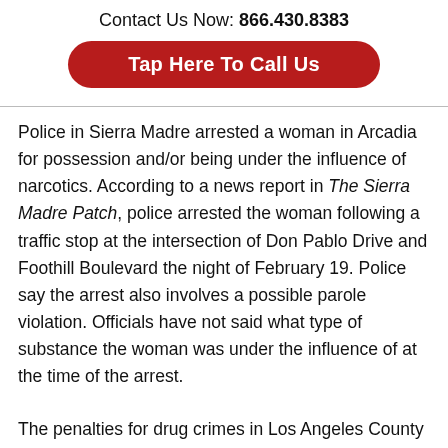Contact Us Now: 866.430.8383
[Figure (other): Red rounded button labeled 'Tap Here To Call Us']
Police in Sierra Madre arrested a woman in Arcadia for possession and/or being under the influence of narcotics. According to a news report in The Sierra Madre Patch, police arrested the woman following a traffic stop at the intersection of Don Pablo Drive and Foothill Boulevard the night of February 19. Police say the arrest also involves a possible parole violation. Officials have not said what type of substance the woman was under the influence of at the time of the arrest.
The penalties for drug crimes in Los Angeles County can be extremely severe. The nature and extent of charges in drug arrests will depend on the quantity of drugs confiscated, the defendant's...